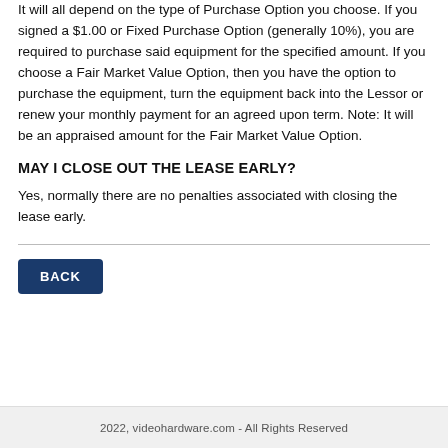It will all depend on the type of Purchase Option you choose. If you signed a $1.00 or Fixed Purchase Option (generally 10%), you are required to purchase said equipment for the specified amount. If you choose a Fair Market Value Option, then you have the option to purchase the equipment, turn the equipment back into the Lessor or renew your monthly payment for an agreed upon term. Note: It will be an appraised amount for the Fair Market Value Option.
MAY I CLOSE OUT THE LEASE EARLY?
Yes, normally there are no penalties associated with closing the lease early.
[Figure (other): BACK navigation button]
2022, videohardware.com - All Rights Reserved